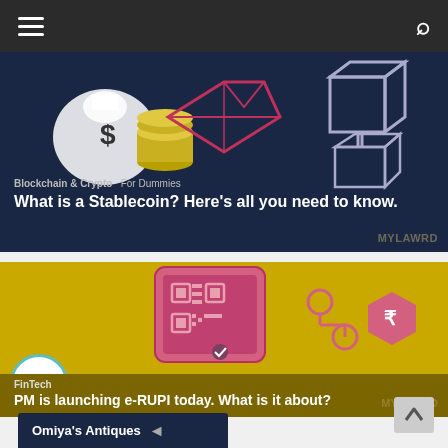Navigation bar with hamburger menu and search icon
[Figure (screenshot): Article card with dark navy background featuring icons: money bag with dollar sign and coins, a diamond/gem icon, and a 3D cube/blockchain icon on white background]
Blockchain & Crypto  For Dummies
What is a Stablecoin? Here's all you need to know.
[Figure (screenshot): Article card with golden/yellow background featuring a mobile phone with QR code, connected nodes, and a rupee coin hexagon icon. Play button overlay at bottom left.]
FinTech
PM is launching e-RUPI today. What is it about?
Omiya's Antiques